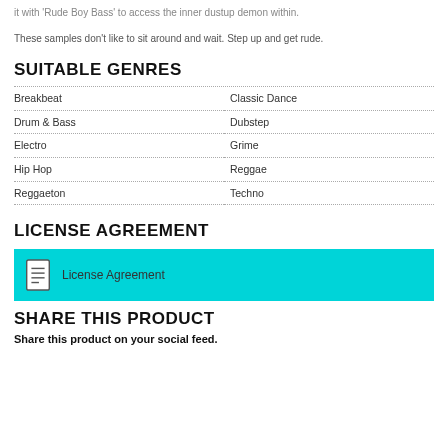it with 'Rude Boy Bass' to access the inner dustup demon within.
These samples don't like to sit around and wait. Step up and get rude.
SUITABLE GENRES
Breakbeat
Classic Dance
Drum & Bass
Dubstep
Electro
Grime
Hip Hop
Reggae
Reggaeton
Techno
LICENSE AGREEMENT
License Agreement
SHARE THIS PRODUCT
Share this product on your social feed.